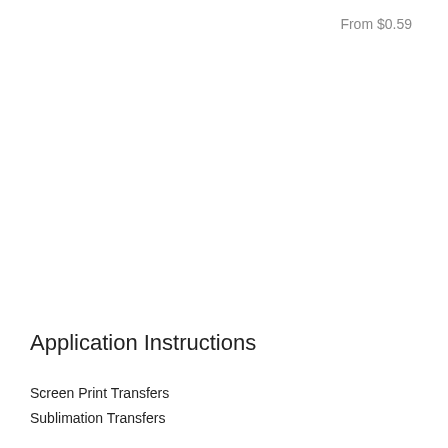From $0.59
Application Instructions
Screen Print Transfers
Sublimation Transfers